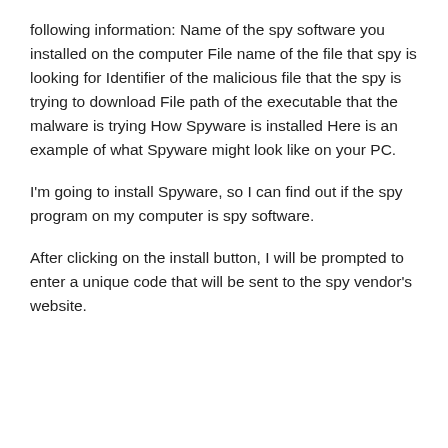following information: Name of the spy software you installed on the computer File name of the file that spy is looking for Identifier of the malicious file that the spy is trying to download File path of the executable that the malware is trying How Spyware is installed Here is an example of what Spyware might look like on your PC.
I'm going to install Spyware, so I can find out if the spy program on my computer is spy software.
After clicking on the install button, I will be prompted to enter a unique code that will be sent to the spy vendor's website.